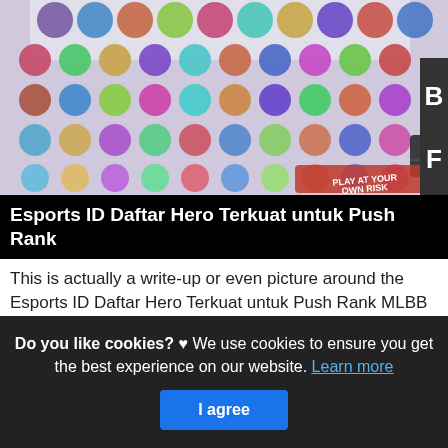[Figure (screenshot): Screenshot of a Mobile Legends hero tier list image showing colorful hero icons arranged in a grid, with tier labels B and F visible on the right side, and a 'Play at your own risk' watermark at the bottom right.]
Esports ID Daftar Hero Terkuat untuk Push Rank
This is actually a write-up or even picture around the Esports ID Daftar Hero Terkuat untuk Push Rank MLBB Patch 16 44, if you prefer even more info approximately the short post or even graphic feel free to click on or even go to the observing web link or even web link .
[Read More]
Do you like cookies? ♥ We use cookies to ensure you get the best experience on our website. Learn more
I agree